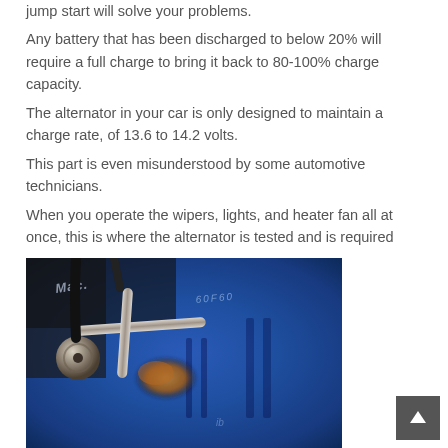jump start will solve your problems.
Any battery that has been discharged to below 20% will require a full charge to bring it back to 80-100% charge capacity.
The alternator in your car is only designed to maintain a charge rate, of 13.6 to 14.2 volts.
This part is even misunderstood by some automotive technicians.
When you operate the wipers, lights, and heater fan all at once, this is where the alternator is tested and is required
[Figure (photo): Close-up photograph of a car battery terminal with metal clamp/cable attached, showing corrosion/rust on a blue battery casing with partial text markings visible.]